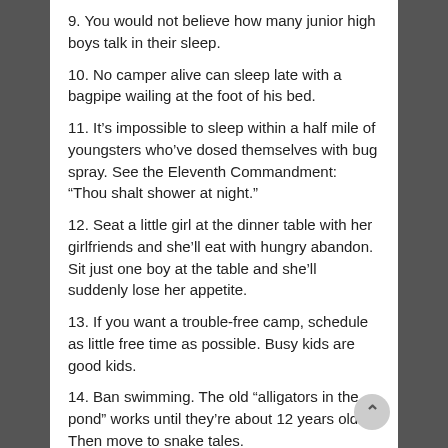9. You would not believe how many junior high boys talk in their sleep.
10. No camper alive can sleep late with a bagpipe wailing at the foot of his bed.
11. It’s impossible to sleep within a half mile of youngsters who’ve dosed themselves with bug spray. See the Eleventh Commandment: “Thou shalt shower at night.”
12. Seat a little girl at the dinner table with her girlfriends and she’ll eat with hungry abandon. Sit just one boy at the table and she’ll suddenly lose her appetite.
13. If you want a trouble-free camp, schedule as little free time as possible. Busy kids are good kids.
14. Ban swimming. The old “alligators in the pond” works until they’re about 12 years old. Then move to snake tales.